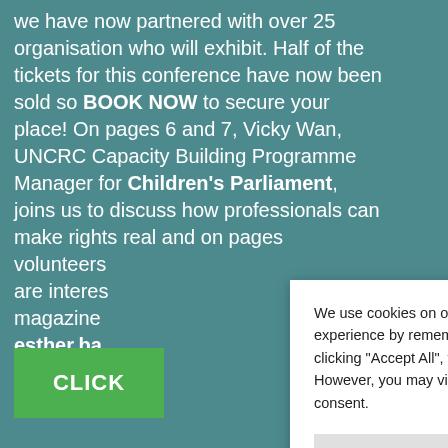we have now partnered with over 25 organisation who will exhibit. Half of the tickets for this conference have now been sold so BOOK NOW to secure your place! On pages 6 and 7, Vicky Wan, UNCRC Capacity Building Programme Manager for Children's Parliament, joins us to discuss how professionals can make rights real and on pages [obscured] volunteers [obscured] are interes[ted in the] magazine[,] esther.ba[...]
We use cookies on our website to give you the most relevant experience by remembering your preferences and repeat visits. By clicking "Accept All", you consent to the use of ALL the cookies. However, you may visit "Cookie Settings" to provide a controlled consent.
CLICK